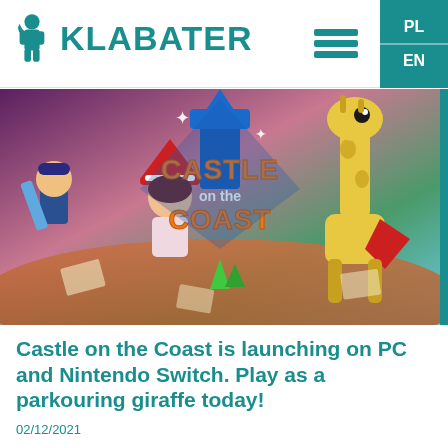[Figure (logo): Klabater logo with teal figure icon and bold teal KLABATER text]
[Figure (screenshot): Castle on the Coast game promotional image showing colorful cartoon characters including a giraffe and a girl in a witch hat, with the Castle on the Coast logo in the center]
Castle on the Coast is launching on PC and Nintendo Switch. Play as a parkouring giraffe today!
02/12/2021